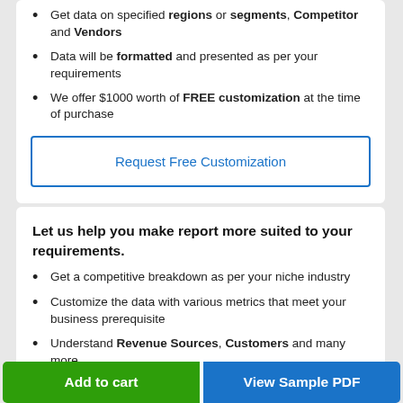Get data on specified regions or segments, Competitor and Vendors
Data will be formatted and presented as per your requirements
We offer $1000 worth of FREE customization at the time of purchase
Request Free Customization
Let us help you make report more suited to your requirements.
Get a competitive breakdown as per your niche industry
Customize the data with various metrics that meet your business prerequisite
Understand Revenue Sources, Customers and many more
Detailed Market Share...
Add to cart
View Sample PDF